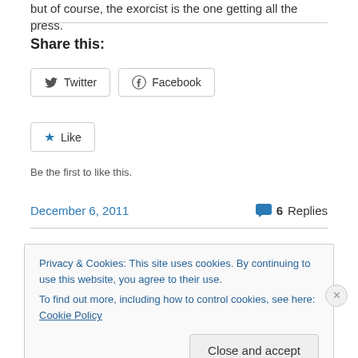but of course, the exorcist is the one getting all the press.
Share this:
[Figure (other): Twitter and Facebook share buttons]
[Figure (other): Like button with star icon]
Be the first to like this.
December 6, 2011    6 Replies
Privacy & Cookies: This site uses cookies. By continuing to use this website, you agree to their use.
To find out more, including how to control cookies, see here: Cookie Policy
Close and accept